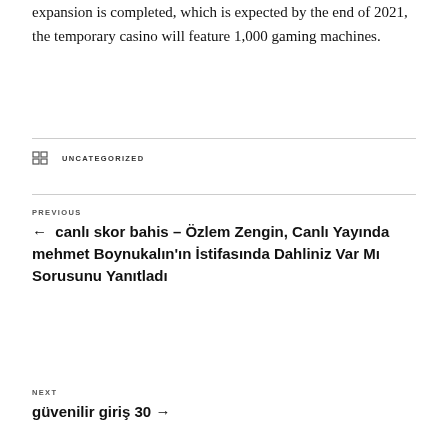Here's how the bonus scheme works. When the expansion is completed, which is expected by the end of 2021, the temporary casino will feature 1,000 gaming machines.
UNCATEGORIZED
PREVIOUS
← canlı skor bahis – Özlem Zengin, Canlı Yayında mehmet Boynukalın'ın İstifasında Dahliniz Var Mı Sorusunu Yanıtladı
NEXT
güvenilir giriş 30 →